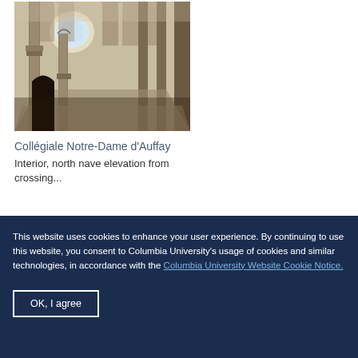[Figure (photo): Interior of Collégiale Notre-Dame d'Auffay, showing gothic arches, columns, and a rose window]
Collégiale Notre-Dame d'Auffay
Interior, north nave elevation from crossing...
This website uses cookies to enhance your user experience. By continuing to use this website, you consent to Columbia University's usage of cookies and similar technologies, in accordance with the Columbia University Website Cookie Notice.
OK, I agree